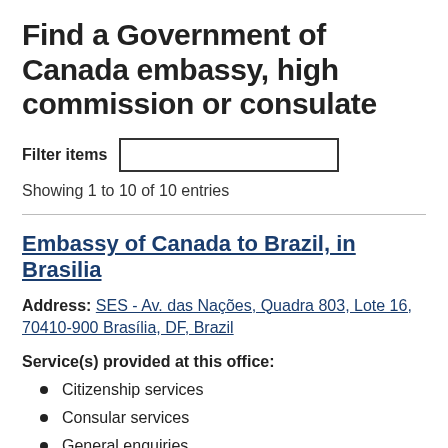Find a Government of Canada embassy, high commission or consulate
Filter items [input box]
Showing 1 to 10 of 10 entries
Embassy of Canada to Brazil, in Brasilia
Address: SES - Av. das Nações, Quadra 803, Lote 16, 70410-900 Brasília, DF, Brazil
Service(s) provided at this office:
Citizenship services
Consular services
General enquiries